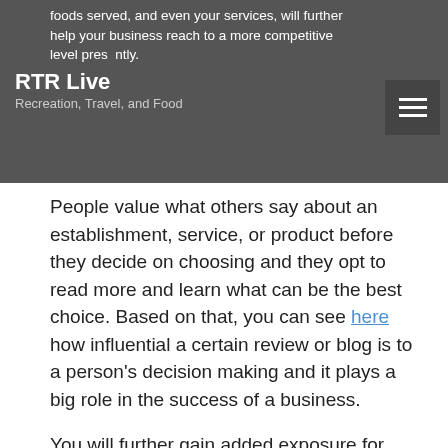foods served, and even your services, will further help your business reach to a more competitive level presently.
RTR Live
Recreation, Travel, and Food
People value what others say about an establishment, service, or product before they decide on choosing and they opt to read more and learn what can be the best choice. Based on that, you can see here how influential a certain review or blog is to a person's decision making and it plays a big role in the success of a business.
You will further gain added exposure for your restaurant business and enhance your identity as well from the many consuming public that may need your services or what your food. People that are able to read about a blog from your restaurant or have read a review will get a better information about your business and will get them interested in wanting to know more about you.
Bloggers have different social media accounts